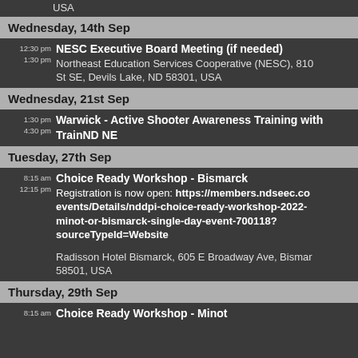USA
Wednesday, 14th Sep
12:30 pm – 1:30 pm | NESC Executive Board Meeting (if needed) | Northeast Education Services Cooperative (NESC), 810 St SE, Devils Lake, ND 58301, USA
Wednesday, 21st Sep
1:30 pm – 4:30 pm | Warwick - Active Shooter Awareness Training with TrainND NE
Tuesday, 27th Sep
8:15 am – 12:15 pm | Choice Ready Workshop - Bismarck | Registration is now open: https://members.ndseec.com/events/Details/nddpi-choice-ready-workshop-2022-minot-or-bismarck-single-day-event-700118?sourceTypeId=Website | Radisson Hotel Bismarck, 605 E Broadway Ave, Bismarck 58501, USA
Thursday, 29th Sep
8:15 am | Choice Ready Workshop - Minot